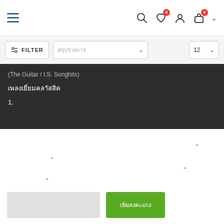[Figure (screenshot): Navigation bar with hamburger menu icon (blue), search icon, heart icon with badge 0, user icon, shopping bag icon with badge 0, and dropdown chevron]
[Figure (screenshot): Filter bar with FILTER button, sort dropdown with Thai placeholder text and chevron, and per-page selector showing 12 with chevron]
(The Guitar / I.S. Songhits)
[Thai text - category heading]
1.
" (quote marks scattered in white section)
[Figure (screenshot): Gray button and green button with Thai label text]